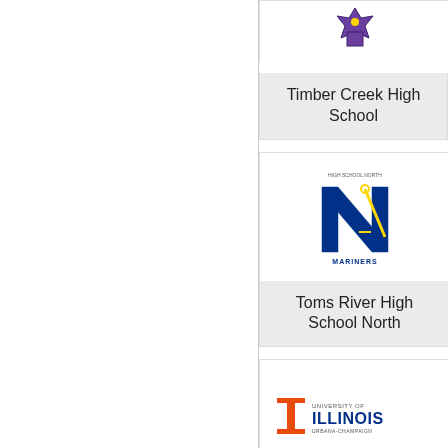[Figure (logo): Timber Creek High School logo (partially visible at top)]
Timber Creek High School
[Figure (logo): Toms River High School North Mariners logo]
Toms River High School North
[Figure (logo): University of Illinois Urbana-Champaign logo]
University of Illinois
[Figure (logo): Partially visible logo at bottom]